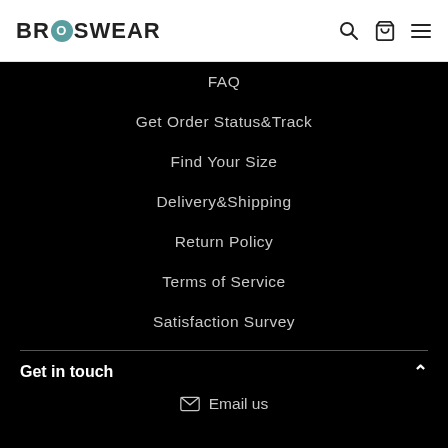BROSWEAR
FAQ
Get Order Status&Track
Find Your Size
Delivery&Shipping
Return Policy
Terms of Service
Satisfaction Survey
Get in touch
Email us